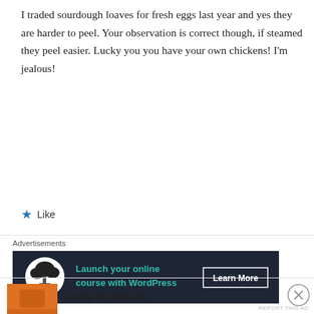I traded sourdough loaves for fresh eggs last year and yes they are harder to peel. Your observation is correct though, if steamed they peel easier. Lucky you you have your own chickens! I'm jealous!
★ Like
Advertisements
[Figure (screenshot): Dark navy advertisement banner: tree/bonsai icon in white circle on left, green text 'Launch your online course with WordPress', white 'Learn More' button on right]
REPORT THIS AD
NAN ROMERO
Advertisements
[Figure (screenshot): Bloomingdales advertisement: bloomingdales logo, 'View Today's Top Deals!' text, woman in large hat photo, 'SHOP NOW >' button]